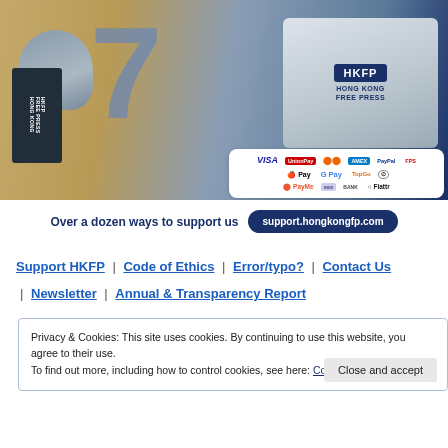[Figure (photo): HKFP branded photo with microphone, HKFP mug, papers, and payment method logos (VISA, UnionPay, Mastercard, Amex, PayPal, FPS, Apple Pay, Google Pay, TopGo, Octopus, PayMe, bank transfer, Flattr)]
Over a dozen ways to support us   support.hongkongfp.com
Support HKFP | Code of Ethics | Error/typo? | Contact Us | Newsletter | Annual & Transparency Report
Privacy & Cookies: This site uses cookies. By continuing to use this website, you agree to their use.
To find out more, including how to control cookies, see here: Cookie Policy
Close and accept